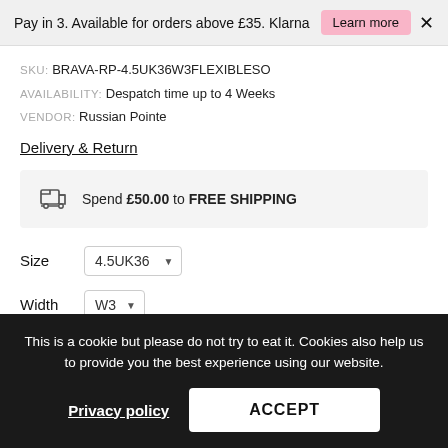Pay in 3. Available for orders above £35. Klarna  Learn more  ×
SKU: BRAVA-RP-4.5UK36W3FLEXIBLESO
AVAILABILITY: Despatch time up to 4 Weeks
VENDOR: Russian Pointe
Delivery & Return
Spend £50.00 to FREE SHIPPING
Size  4.5UK36 ▼
Width  W3 ▼
This is a cookie but please do not try to eat it. Cookies also help us to provide you the best experience using our website.
Privacy policy    ACCEPT